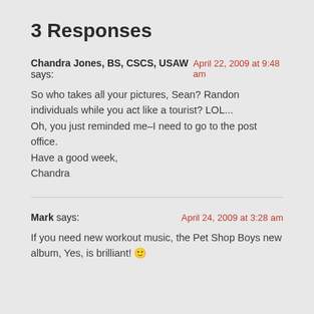3 Responses
Chandra Jones, BS, CSCS, USAW says:	April 22, 2009 at 9:48 am
So who takes all your pictures, Sean? Randon individuals while you act like a tourist? LOL...
Oh, you just reminded me–I need to go to the post office.
Have a good week,
Chandra
Mark says:	April 24, 2009 at 3:28 am
If you need new workout music, the Pet Shop Boys new album, Yes, is brilliant! 🙂